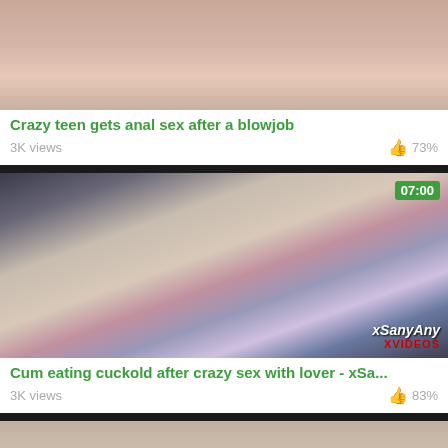[Figure (photo): Thumbnail image for adult video - close up of bodies on bed]
Crazy teen gets anal sex after a blowjob
3K views   👍 73%
[Figure (photo): Thumbnail image for adult video showing a bedroom scene with multiple people, duration badge 07:00, xSanyAny xVIDEOS watermark]
Cum eating cuckold after crazy sex with lover - xSa...
3K views   👍 83%
[Figure (photo): Partial thumbnail of another video at bottom of page]